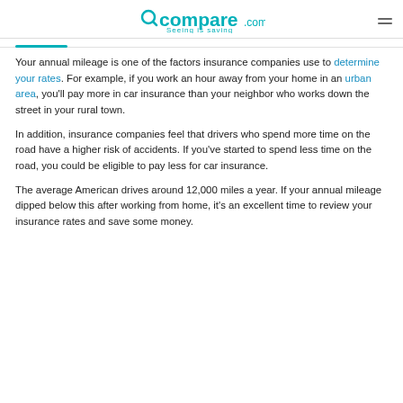Compare.com — Seeing is saving
Your annual mileage is one of the factors insurance companies use to determine your rates. For example, if you work an hour away from your home in an urban area, you'll pay more in car insurance than your neighbor who works down the street in your rural town.
In addition, insurance companies feel that drivers who spend more time on the road have a higher risk of accidents. If you've started to spend less time on the road, you could be eligible to pay less for car insurance.
The average American drives around 12,000 miles a year. If your annual mileage dipped below this after working from home, it's an excellent time to review your insurance rates and save some money.